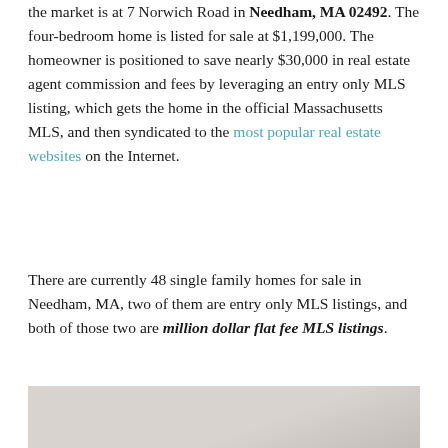the market is at 7 Norwich Road in Needham, MA 02492. The four-bedroom home is listed for sale at $1,199,000. The homeowner is positioned to save nearly $30,000 in real estate agent commission and fees by leveraging an entry only MLS listing, which gets the home in the official Massachusetts MLS, and then syndicated to the most popular real estate websites on the Internet.
There are currently 48 single family homes for sale in Needham, MA, two of them are entry only MLS listings, and both of those two are million dollar flat fee MLS listings.
[Figure (photo): Partial view of a room interior, showing a light-colored surface at the bottom of the page]